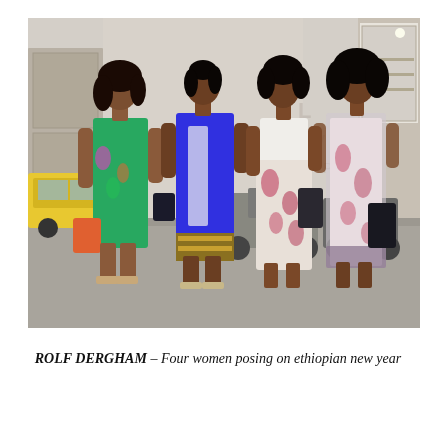[Figure (photo): Four women posing on a street for Ethiopian new year. The women are dressed in colorful outfits: one in a green strapless dress with tropical print, one in a blue traditional long dress with gold embroidery, one in a floral long skirt with white top, and one in a sheer floral long dress. They are standing on a sidewalk with motorcycles, cars, and storefronts visible in the background.]
ROLF DERGHAM – Four women posing on ethiopian new year